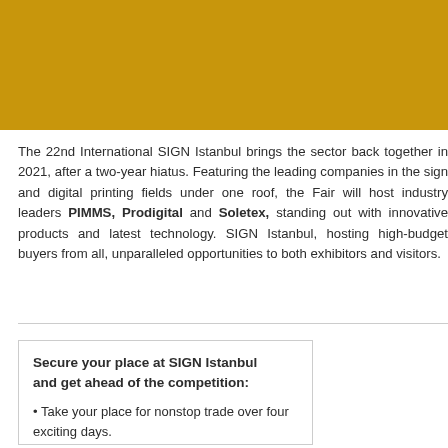[Figure (other): Gold/dark yellow banner image at top of page]
The 22nd International SIGN Istanbul brings the sector back together in 2021, after a two-year hiatus. Featuring the leading companies in the sign and digital printing fields under one roof, the Fair will host industry leaders PIMMS, Prodigital and Soletex, standing out with innovative products and latest technology. SIGN Istanbul, hosting high-budget buyers from all, unparalleled opportunities to both exhibitors and visitors.
Secure your place at SIGN Istanbul and get ahead of the competition:
Take your place for nonstop trade over four exciting days.